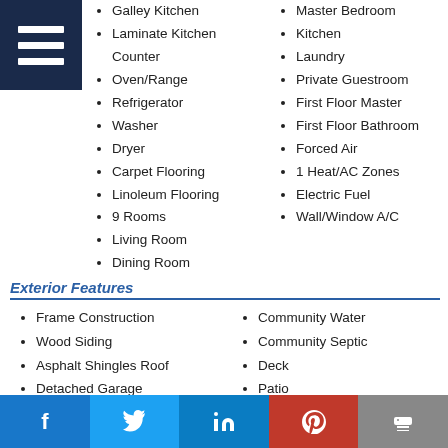Galley Kitchen
Laminate Kitchen Counter
Oven/Range
Refrigerator
Washer
Dryer
Carpet Flooring
Linoleum Flooring
9 Rooms
Living Room
Dining Room
Master Bedroom
Kitchen
Laundry
Private Guestroom
First Floor Master
First Floor Bathroom
Forced Air
1 Heat/AC Zones
Electric Fuel
Wall/Window A/C
Exterior Features
Frame Construction
Wood Siding
Asphalt Shingles Roof
Detached Garage
1 Garage Space
Community Water
Community Septic
Deck
Patio
Taxes and Fees